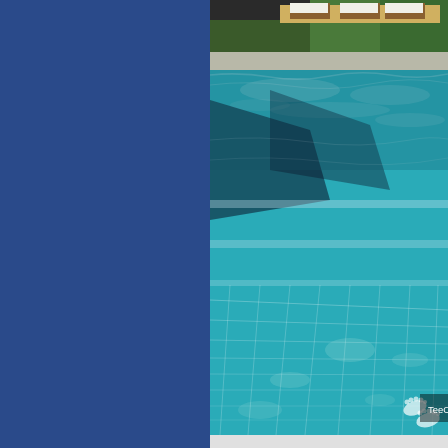[Figure (photo): A swimming pool with clear turquoise water showing tile pattern on the bottom, steps descending into the pool, reflections on the water surface, and lounge chairs with an infinity edge visible in the background at a resort in Chiangmai.]
TeeChoco : Review : Veranda The High Resort ,Chiangmai